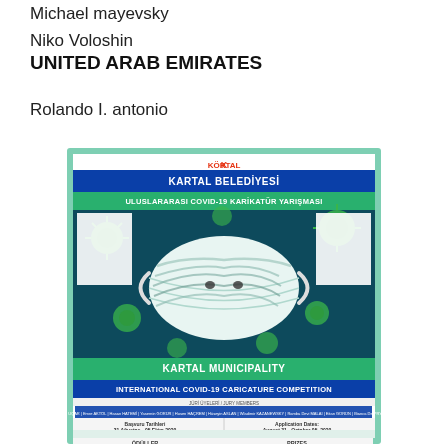Michael mayevsky
Niko Voloshin
UNITED ARAB EMIRATES
Rolando I. antonio
[Figure (photo): Poster for Kartal Belediyesi (Kartal Municipality) International Covid-19 Caricature Competition. Shows a face mask with mummy-like cartoon face wrapped in bandages, surrounded by green coronavirus particles on a dark teal background. Text includes Turkish and English: 'KARTAL BELEDİYESİ ULUSLARARASI COVID-19 KARİKATÜR YARIŞMASI' and 'KARTAL MUNICIPALITY INTERNATIONAL COVID-19 CARICATURE COMPETITION'. Application dates: August 31 - October 05, 2020. Jury members listed. Prizes listed in Turkish (ÖDÜLLER) and English (PRIZES).]